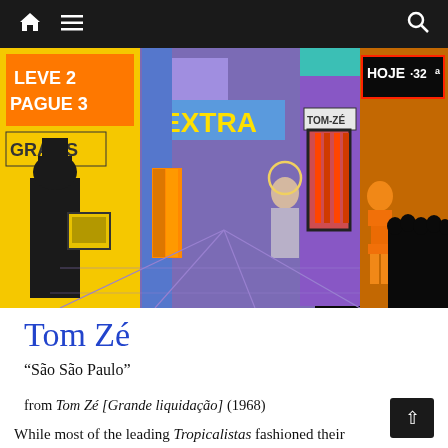[navigation bar with home, menu, and search icons]
[Figure (illustration): Colorful pop-art style illustration of a urban street scene with storefronts. Signs read 'LEVE 2 PAGUE 3', 'GRÁTIS', 'EXTRA', 'HOJE·32ª', 'TOM-ZÉ'. Figures include a silhouetted man with a TV, a saint figure, and a woman in a bikini. Right side shows silhouetted crowd.]
Tom Zé
“São São Paulo”
from Tom Zé [Grande liquidação] (1968)
While most of the leading Tropicalistas fashioned their